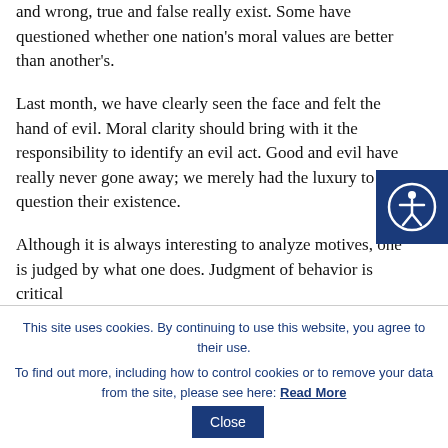and wrong, true and false really exist. Some have questioned whether one nation's moral values are better than another's.
Last month, we have clearly seen the face and felt the hand of evil. Moral clarity should bring with it the responsibility to identify an evil act. Good and evil have really never gone away; we merely had the luxury to question their existence.
Although it is always interesting to analyze motives, one is judged by what one does. Judgment of behavior is critical...
[Figure (other): Accessibility icon button — circular person with arms and legs symbol on dark navy blue background, positioned at right edge of page.]
This site uses cookies. By continuing to use this website, you agree to their use. To find out more, including how to control cookies or to remove your data from the site, please see here: Read More